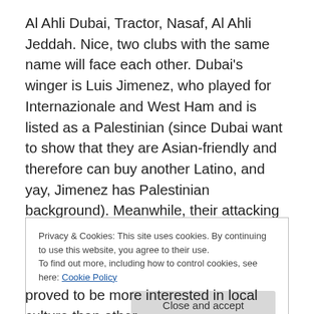Al Ahli Dubai, Tractor, Nasaf, Al Ahli Jeddah. Nice, two clubs with the same name will face each other. Dubai's winger is Luis Jimenez, who played for Internazionale and West Ham and is listed as a Palestinian (since Dubai want to show that they are Asian-friendly and therefore can buy another Latino, and yay, Jimenez has Palestinian background). Meanwhile, their attacking midfielder is Oussama Assaidi, who played four matches with Liverpool. If AFC rejects Jimenez' Asian status, then there's ex-Jeonbuk midfielder Kwon Kyung-won.
Privacy & Cookies: This site uses cookies. By continuing to use this website, you agree to their use. To find out more, including how to control cookies, see here: Cookie Policy
proved to be more interested in local culture than other